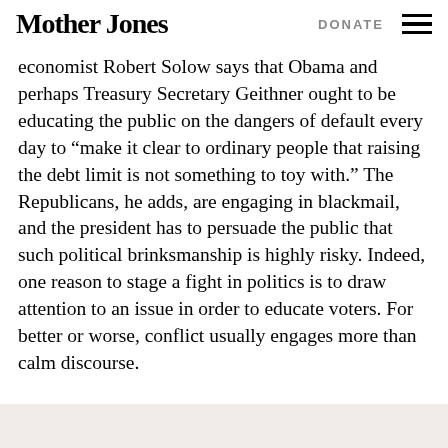Mother Jones | DONATE
economist Robert Solow says that Obama and perhaps Treasury Secretary Geithner ought to be educating the public on the dangers of default every day to “make it clear to ordinary people that raising the debt limit is not something to toy with.” The Republicans, he adds, are engaging in blackmail, and the president has to persuade the public that such political brinksmanship is highly risky. Indeed, one reason to stage a fight in politics is to draw attention to an issue in order to educate voters. For better or worse, conflict usually engages more than calm discourse.